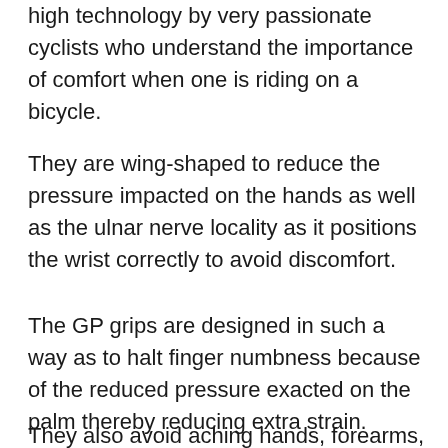high technology by very passionate cyclists who understand the importance of comfort when one is riding on a bicycle.
They are wing-shaped to reduce the pressure impacted on the hands as well as the ulnar nerve locality as it positions the wrist correctly to avoid discomfort.
The GP grips are designed in such a way as to halt finger numbness because of the reduced pressure exacted on the palm thereby reducing extra strain.
They also avoid aching hands, forearms, and